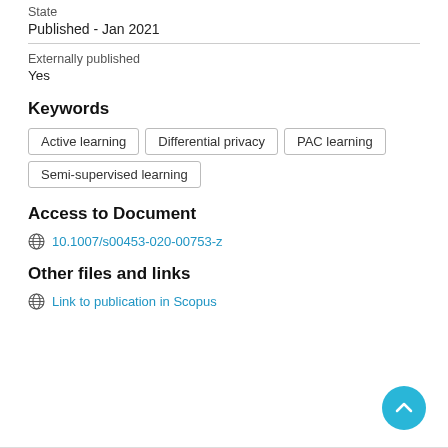State
Published - Jan 2021
Externally published
Yes
Keywords
Active learning
Differential privacy
PAC learning
Semi-supervised learning
Access to Document
10.1007/s00453-020-00753-z
Other files and links
Link to publication in Scopus